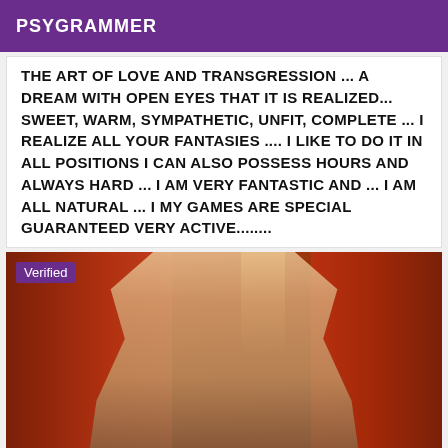PSYGRAMMER
THE ART OF LOVE AND TRANSGRESSION ... A DREAM WITH OPEN EYES THAT IT IS REALIZED... SWEET, WARM, SYMPATHETIC, UNFIT, COMPLETE ... I REALIZE ALL YOUR FANTASIES .... I LIKE TO DO IT IN ALL POSITIONS I CAN ALSO POSSESS HOURS AND ALWAYS HARD ... I AM VERY FANTASTIC AND ... I AM ALL NATURAL ... I MY GAMES ARE SPECIAL GUARANTEED VERY ACTIVE........
[Figure (photo): Photo of a blonde woman in lingerie standing in front of red curtains with warm lighting. A 'Verified' badge is shown in the top-left corner of the image.]